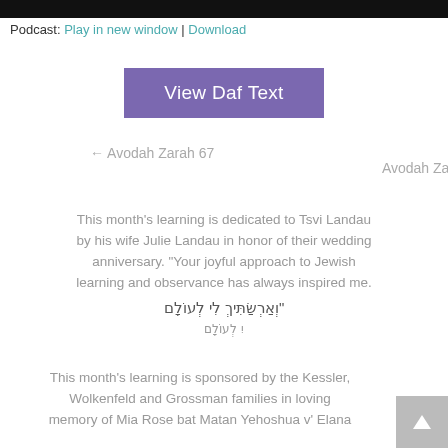[Figure (screenshot): Black bar at top of page, partial media player screenshot]
Podcast: Play in new window | Download
View Daf Text
← Avodah Zarah 67
Avodah Zar
This month's learning is dedicated to Tsvi Landau by his wife Julie Landau in honor of their wedding anniversary. "Your joyful approach to Jewish learning and observance has always inspired me. וְאַרְשַּׂתִּיךְ לִי לְעוֹלָם"
This month's learning is sponsored by the Kessler, Wolkenfeld and Grossman families in loving memory of Mia Rose bat Matan Yehoshua v' Elana